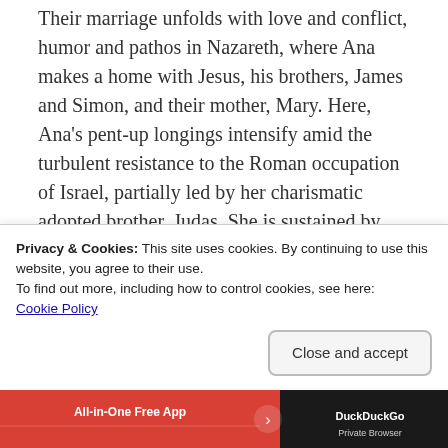Their marriage unfolds with love and conflict, humor and pathos in Nazareth, where Ana makes a home with Jesus, his brothers, James and Simon, and their mother, Mary. Here, Ana's pent-up longings intensify amid the turbulent resistance to the Roman occupation of Israel, partially led by her charismatic adopted brother, Judas. She is sustained by her indomitable aunt Yaltha, who is searching for her long-lost daughter, as well as by other women, including her friend Tabitha, who is sold into slavery after she was raped, and Phasaelis, the shrewd wife of
Privacy & Cookies: This site uses cookies. By continuing to use this website, you agree to their use.
To find out more, including how to control cookies, see here:
Cookie Policy
Close and accept
[Figure (screenshot): Ad bar at the bottom showing 'All-in-One Free App' text in red/dark background with DuckDuckGo logo on right]